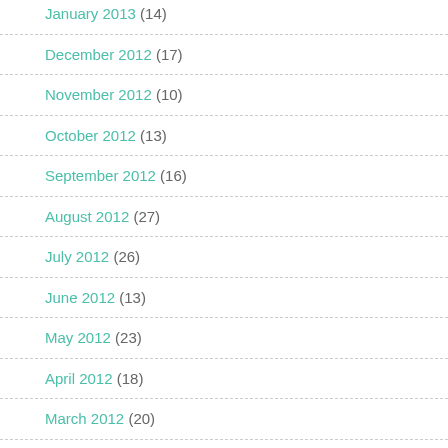January 2013 (14)
December 2012 (17)
November 2012 (10)
October 2012 (13)
September 2012 (16)
August 2012 (27)
July 2012 (26)
June 2012 (13)
May 2012 (23)
April 2012 (18)
March 2012 (20)
February 2012 (25)